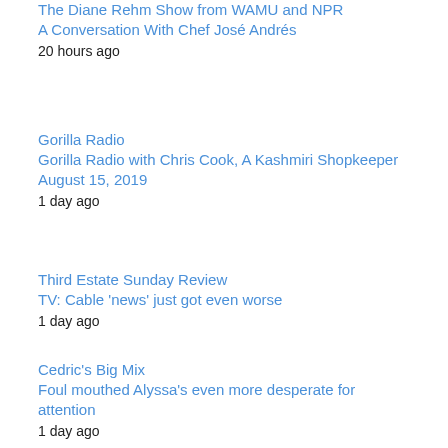The Diane Rehm Show from WAMU and NPR
A Conversation With Chef José Andrés
20 hours ago
Gorilla Radio
Gorilla Radio with Chris Cook, A Kashmiri Shopkeeper August 15, 2019
1 day ago
Third Estate Sunday Review
TV: Cable 'news' just got even worse
1 day ago
Cedric's Big Mix
Foul mouthed Alyssa's even more desperate for attention
1 day ago